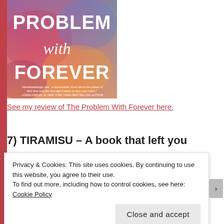[Figure (illustration): Book cover of 'The Problem With Forever' showing colorful watercolor background with bold white text. Text reads 'PROBLEM with FOREVER' with a quote at the bottom.]
See my review of The Problem With Forever here.
7) TIRAMISU – A book that left you wanting more
Privacy & Cookies: This site uses cookies. By continuing to use this website, you agree to their use.
To find out more, including how to control cookies, see here: Cookie Policy